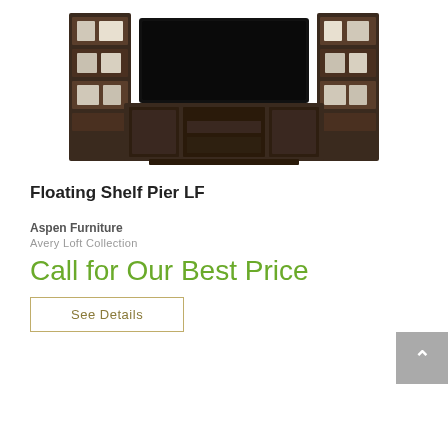[Figure (photo): Entertainment center / wall unit with floating shelf pier, dark wood finish, featuring a TV stand with cabinets and drawers, flanked by two tall open-shelf pier towers with a large flat-screen TV mounted in the center.]
Floating Shelf Pier LF
Aspen Furniture
Avery Loft Collection
Call for Our Best Price
See Details